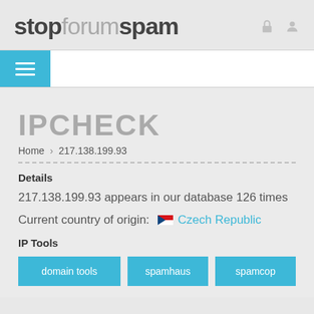stopforumspam
[Figure (other): Navigation bar with hamburger menu button in teal/cyan]
IPCHECK
Home > 217.138.199.93
Details
217.138.199.93 appears in our database 126 times
Current country of origin: Czech Republic
IP Tools
domain tools
spamhaus
spamcop